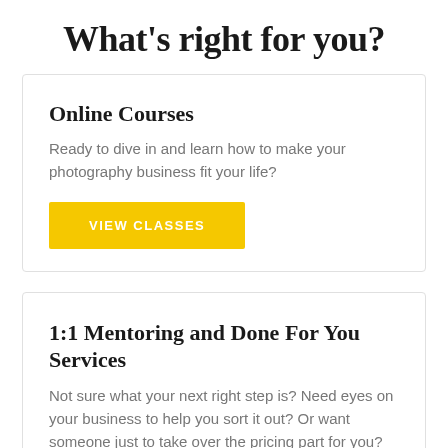What's right for you?
Online Courses
Ready to dive in and learn how to make your photography business fit your life?
VIEW CLASSES
1:1 Mentoring and Done For You Services
Not sure what your next right step is? Need eyes on your business to help you sort it out? Or want someone just to take over the pricing part for you?